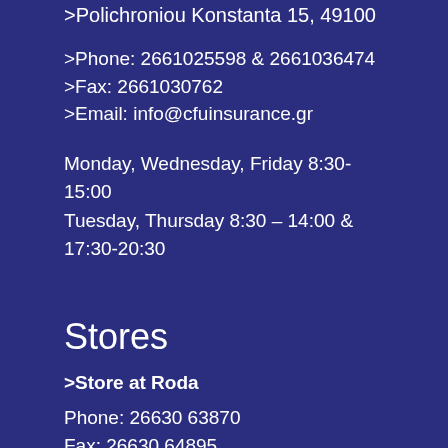>Polichroniou Konstanta 15, 49100
>Phone: 2661025598 & 2661036474
>Fax: 2661030762
>Email: info@cfuinsurance.gr
Monday, Wednesday, Friday 8:30-15:00
Tuesday, Thursday 8:30 – 14:00 & 17:30-20:30
Stores
>Store at Roda
Phone: 26630 63870
Fax: 26630 64895
>Store at Sidari